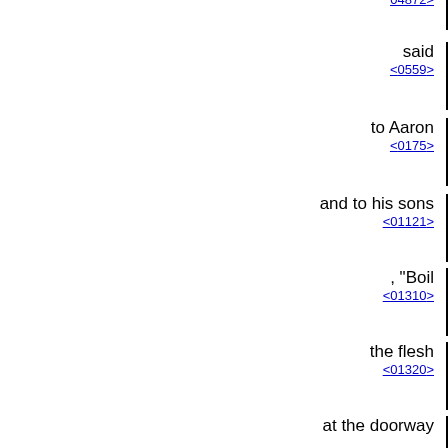<04872>
said
<0559>
to Aaron
<0175>
and to his sons
<01121>
, "Boil
<01310>
the flesh
<01320>
at the doorway
<06607>
of the tent
<0168>
of meeting
<04150>
, and eat
<0398>
it there
<08033>
together with